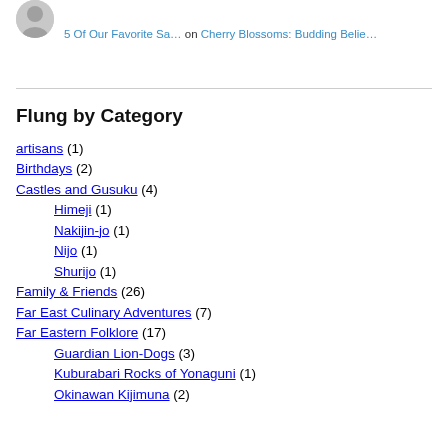[Figure (illustration): Gray avatar/profile icon placeholder image]
5 Of Our Favorite Sa… on Cherry Blossoms: Budding Belie…
Flung by Category
artisans (1)
Birthdays (2)
Castles and Gusuku (4)
Himeji (1)
Nakijin-jo (1)
Nijo (1)
Shurijo (1)
Family & Friends (26)
Far East Culinary Adventures (7)
Far Eastern Folklore (17)
Guardian Lion-Dogs (3)
Kuburabari Rocks of Yonaguni (1)
Okinawan Kijimuna (2)